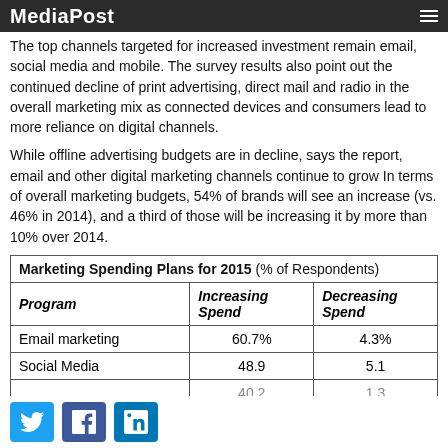MediaPost
The top channels targeted for increased investment remain email, social media and mobile. The survey results also point out the continued decline of print advertising, direct mail and radio in the overall marketing mix as connected devices and consumers lead to more reliance on digital channels.
While offline advertising budgets are in decline, says the report, email and other digital marketing channels continue to grow In terms of overall marketing budgets, 54% of brands will see an increase (vs. 46% in 2014), and a third of those will be increasing it by more than 10% over 2014.
| Program | Increasing Spend | Decreasing Spend |
| --- | --- | --- |
| Email marketing | 60.7% | 4.3% |
| Social Media | 48.9 | 5.1 |
|  | 40.2 | 1.3 |